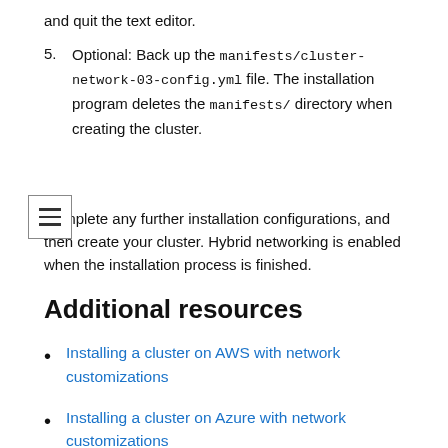and quit the text editor.
5. Optional: Back up the manifests/cluster-network-03-config.yml file. The installation program deletes the manifests/ directory when creating the cluster.
Complete any further installation configurations, and then create your cluster. Hybrid networking is enabled when the installation process is finished.
Additional resources
Installing a cluster on AWS with network customizations
Installing a cluster on Azure with network customizations